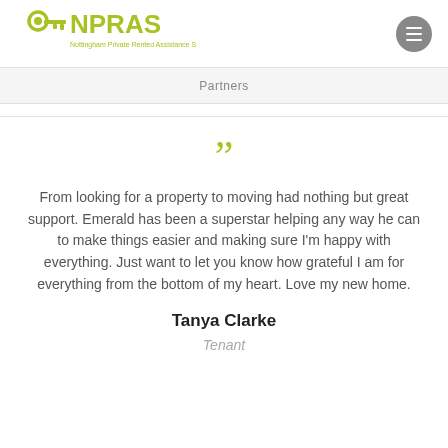[Figure (logo): NPRAS logo with key icon and text 'Nottingham Private Rented Assistance Scheme']
Partners
From looking for a property to moving had nothing but great support. Emerald has been a superstar helping any way he can to make things easier and making sure I'm happy with everything. Just want to let you know how grateful I am for everything from the bottom of my heart. Love my new home.
Tanya Clarke
Tenant